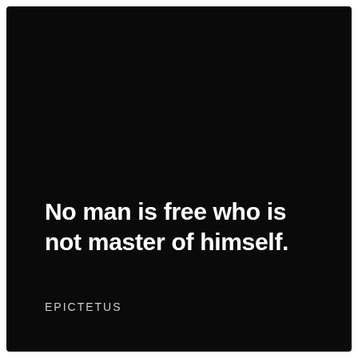No man is free who is not master of himself.
EPICTETUS